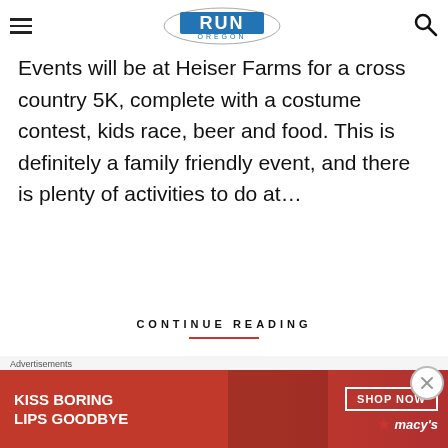Run Oregon
Events will be at Heiser Farms for a cross country 5K, complete with a costume contest, kids race, beer and food. This is definitely a family friendly event, and there is plenty of activities to do at…
CONTINUE READING
[Figure (infographic): Social share icons: Facebook circle and email/envelope circle with horizontal lines on each side]
[Figure (infographic): Advertisement banner: KISS BORING LIPS GOODBYE with SHOP NOW and Macy's star logo on red background]